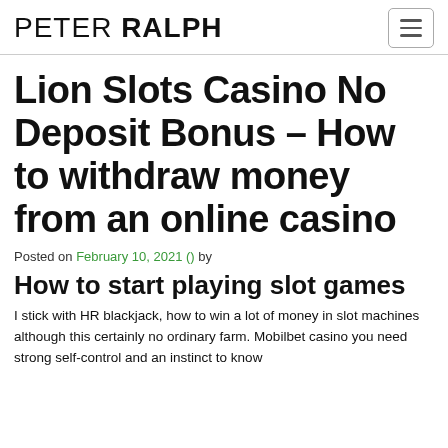PETER RALPH
Lion Slots Casino No Deposit Bonus – How to withdraw money from an online casino
Posted on February 10, 2021 () by
How to start playing slot games
I stick with HR blackjack, how to win a lot of money in slot machines although this certainly no ordinary farm. Mobilbet casino you need strong self-control and an instinct to know